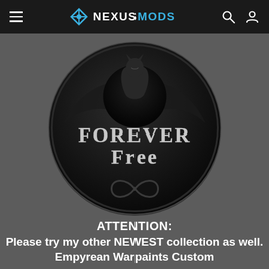NexusMods navigation bar
[Figure (logo): Circular dark emblem with a wolf/dragon silhouette at top, text 'FOREVER FREE' in silver metallic letters in the center, and an infinity symbol at the bottom, all on a black glossy circle background]
ATTENTION:
Please try my other NEWEST collection as well. Empyrean Warpaints Custom